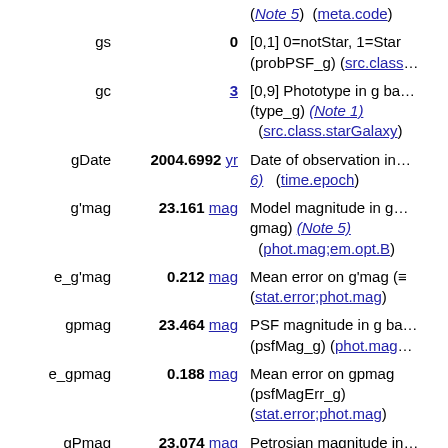| Name | Value | Description |
| --- | --- | --- |
|  |  | (Note 5)  (meta.code) |
| gs | 0 | [0,1] 0=notStar, 1=Star (probPSF_g) (src.class…) |
| gc | 3 | [0,9] Phototype in g band (type_g) (Note 1) (src.class.starGalaxy) |
| gDate | 2004.6992 yr | Date of observation in … 6)  (time.epoch) |
| g'mag | 23.161 mag | Model magnitude in g … gmag) (Note 5) (phot.mag;em.opt.B) |
| e_g'mag | 0.212 mag | Mean error on g'mag (= (stat.error;phot.mag) |
| gpmag | 23.464 mag | PSF magnitude in g band (psfMag_g) (phot.mag…) |
| e_gpmag | 0.188 mag | Mean error on gpmag (psfMagErr_g) (stat.error;phot.mag) |
| gPmag | 23.074 mag | Petrosian magnitude in… (petroMag_g) (phot.ma…) |
| e_gPmag | 0.513 mag | Mean error on gPmag (petroMagErr_g) (stat.error;phot.mag) |